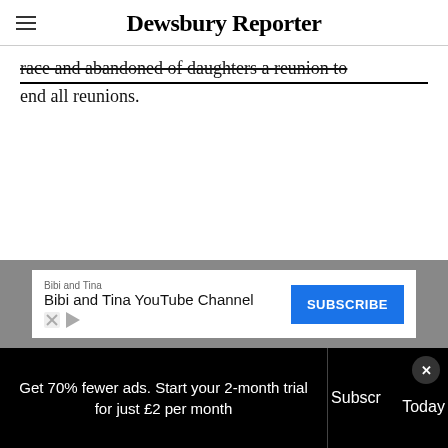Dewsbury Reporter
…race and abandoned of daughters a reunion to end all reunions.
[Figure (other): Ad unit: Bibi and Tina YouTube Channel with Subscribe button]
Get 70% fewer ads. Start your 2-month trial for just £2 per month
Subscribe Today